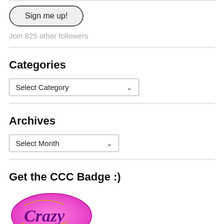[Figure (other): Top border/input field partial view]
Sign me up!
Join 825 other followers
Categories
Select Category
Archives
Select Month
Get the CCC Badge :)
[Figure (illustration): Pink badge with cursive 'Crazy' text in purple/gold on magenta background]